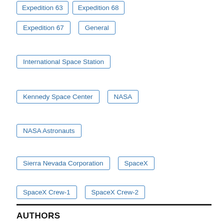Expedition 67
General
International Space Station
Kennedy Space Center
NASA
NASA Astronauts
Sierra Nevada Corporation
SpaceX
SpaceX Crew-1
SpaceX Crew-2
Uncategorized
AUTHORS